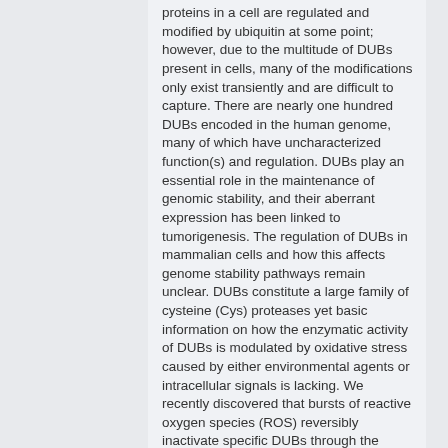proteins in a cell are regulated and modified by ubiquitin at some point; however, due to the multitude of DUBs present in cells, many of the modifications only exist transiently and are difficult to capture. There are nearly one hundred DUBs encoded in the human genome, many of which have uncharacterized function(s) and regulation. DUBs play an essential role in the maintenance of genomic stability, and their aberrant expression has been linked to tumorigenesis. The regulation of DUBs in mammalian cells and how this affects genome stability pathways remain unclear. DUBs constitute a large family of cysteine (Cys) proteases yet basic information on how the enzymatic activity of DUBs is modulated by oxidative stress caused by either environmental agents or intracellular signals is lacking. We recently discovered that bursts of reactive oxygen species (ROS) reversibly inactivate specific DUBs through the oxidation of the catalytic Cys residue. Importantly, the DUB USP1, a key regulator of the Fanconi Anemia (FA) genomic stability pathway and PCNA-mediated translesion synthesis (TLS), was